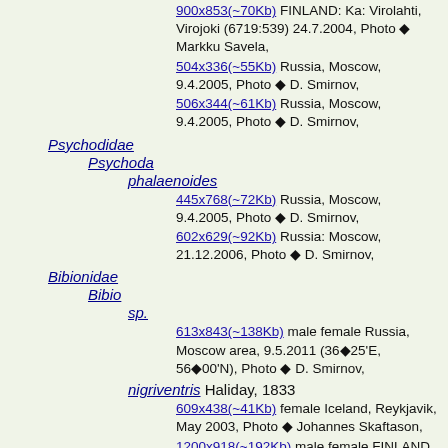900x853(~70Kb) FINLAND: Ka: Virolahti, Virojoki (6719:539) 24.7.2004, Photo ◆ Markku Savela,
504x336(~55Kb) Russia, Moscow, 9.4.2005, Photo ◆ D. Smirnov,
506x344(~61Kb) Russia, Moscow, 9.4.2005, Photo ◆ D. Smirnov,
Psychodidae
Psychoda
phalaenoides
445x768(~72Kb) Russia, Moscow, 9.4.2005, Photo ◆ D. Smirnov,
602x629(~92Kb) Russia: Moscow, 21.12.2006, Photo ◆ D. Smirnov,
Bibionidae
Bibio
sp.
613x843(~138Kb) male female Russia, Moscow area, 9.5.2011 (36◆25'E, 56◆00'N), Photo ◆ D. Smirnov,
nigriventris Haliday, 1833
609x438(~41Kb) female Iceland, Reykjavik, May 2003, Photo ◆ Johannes Skaftason,
1200x918(~192Kb) male female FINLAND, Ka: Virolahti, Virojoki 27.6.2004, Photo ◆ Markku Savela,